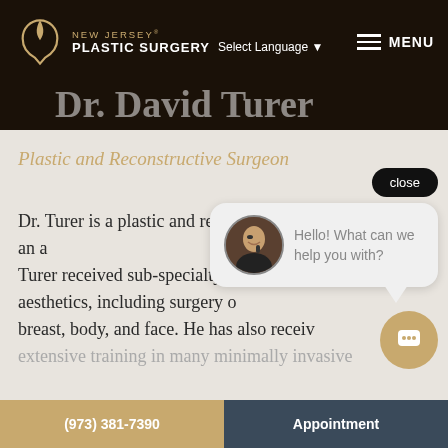NEW JERSEY® PLASTIC SURGERY — Select Language ▼ MENU
Dr. David Turer
Plastic and Reconstructive Surgeon
Dr. Turer is a plastic and reconstructive surgeon... As an a... Turer received sub-specialty training in all aspects of aesthetics, including surgery of breast, body, and face. He has also received extensive training in many minimally invasive
[Figure (screenshot): Chat popup with avatar photo of woman on phone, message: Hello! What can we help you with?]
(973) 381-7390    Appointment